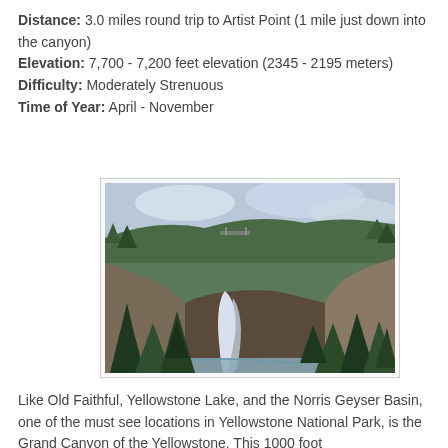Distance: 3.0 miles round trip to Artist Point (1 mile just down into the canyon)
Elevation: 7,700 - 7,200 feet elevation (2345 - 2195 meters)
Difficulty: Moderately Strenuous
Time of Year: April - November
[Figure (photo): Aerial view of a waterfall in a deep forested canyon, likely Upper Falls or Lower Falls in the Grand Canyon of the Yellowstone, surrounded by dense evergreen trees and rocky canyon walls.]
Like Old Faithful, Yellowstone Lake, and the Norris Geyser Basin, one of the must see locations in Yellowstone National Park, is the Grand Canyon of the Yellowstone. This 1000 foot